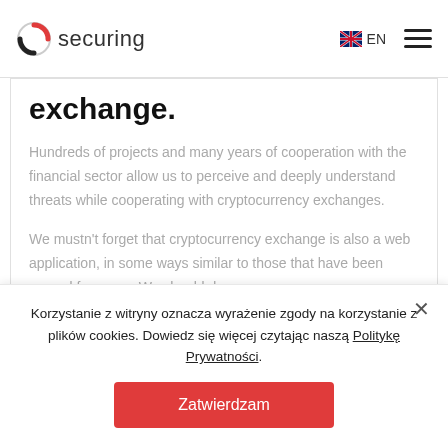securing | EN
exchange.
Hundreds of projects and many years of cooperation with the financial sector allow us to perceive and deeply understand threats while cooperating with cryptocurrency exchanges.
We mustn't forget that cryptocurrency exchange is also a web application, in some ways similar to those that have been around for years. We should draw
Korzystanie z witryny oznacza wyrażenie zgody na korzystanie z plików cookies. Dowiedz się więcej czytając naszą Politykę Prywatności.
Zatwierdzam